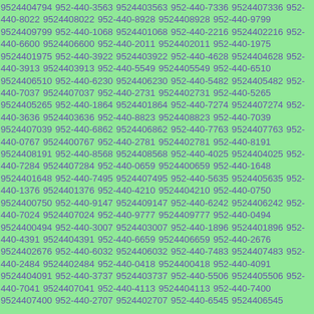9524404794 952-440-3563 9524403563 952-440-7336 9524407336 952-440-8022 9524408022 952-440-8928 9524408928 952-440-9799 9524409799 952-440-1068 9524401068 952-440-2216 9524402216 952-440-6600 9524406600 952-440-2011 9524402011 952-440-1975 9524401975 952-440-3922 9524403922 952-440-4628 9524404628 952-440-3913 9524403913 952-440-5549 9524405549 952-440-6510 9524406510 952-440-6230 9524406230 952-440-5482 9524405482 952-440-7037 9524407037 952-440-2731 9524402731 952-440-5265 9524405265 952-440-1864 9524401864 952-440-7274 9524407274 952-440-3636 9524403636 952-440-8823 9524408823 952-440-7039 9524407039 952-440-6862 9524406862 952-440-7763 9524407763 952-440-0767 9524400767 952-440-2781 9524402781 952-440-8191 9524408191 952-440-8568 9524408568 952-440-4025 9524404025 952-440-7284 9524407284 952-440-0659 9524400659 952-440-1648 9524401648 952-440-7495 9524407495 952-440-5635 9524405635 952-440-1376 9524401376 952-440-4210 9524404210 952-440-0750 9524400750 952-440-9147 9524409147 952-440-6242 9524406242 952-440-7024 9524407024 952-440-9777 9524409777 952-440-0494 9524400494 952-440-3007 9524403007 952-440-1896 9524401896 952-440-4391 9524404391 952-440-6659 9524406659 952-440-2676 9524402676 952-440-6032 9524406032 952-440-7483 9524407483 952-440-2484 9524402484 952-440-0418 9524400418 952-440-4091 9524404091 952-440-3737 9524403737 952-440-5506 9524405506 952-440-7041 9524407041 952-440-4113 9524404113 952-440-7400 9524407400 952-440-2707 9524402707 952-440-6545 9524406545